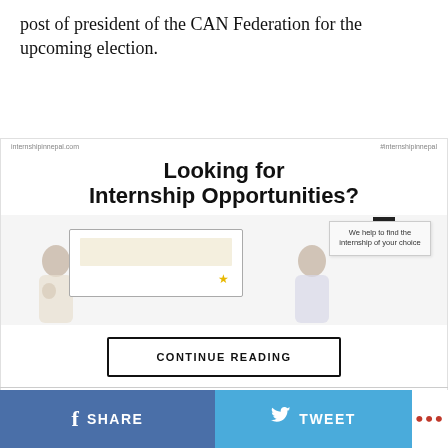post of president of the CAN Federation for the upcoming election.
[Figure (infographic): Advertisement for internshipinnepal.com with heading 'Looking for Internship Opportunities?' showing two illustrated characters at a laptop, a note card reading 'We help to find the internship of your choice', and website/hashtag labels.]
CONTINUE READING
SHARE  TWEET  ...